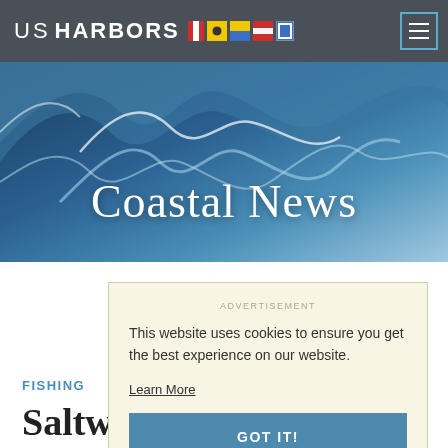US HARBORS
[Figure (screenshot): Hero image of ocean wave with text 'Coastal News' overlaid]
ADVERTISEMENT
This website uses cookies to ensure you get the best experience on our website.
Learn More
GOT IT!
FISHING
Saltwater License Free